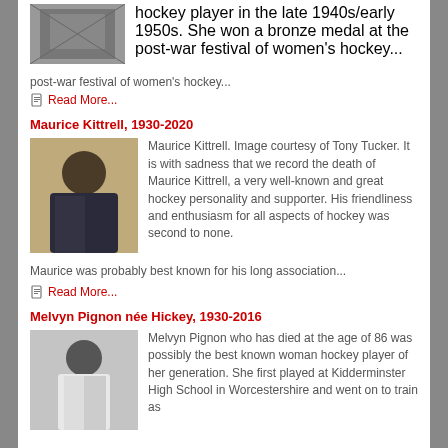[Figure (photo): Partial photo of a person, cropped at top]
hockey player in the late 1940s/early 1950s. She won a bronze medal at the post-war festival of women's hockey...
Read More...
Maurice Kittrell, 1930-2020
[Figure (photo): Photo of Maurice Kittrell, a heavyset man in a dark jacket]
Maurice Kittrell. Image courtesy of Tony Tucker. It is with sadness that we record the death of Maurice Kittrell, a very well-known and great hockey personality and supporter. His friendliness and enthusiasm for all aspects of hockey was second to none. Maurice was probably best known for his long association...
Read More...
Melvyn Pignon née Hickey, 1930-2016
[Figure (photo): Black and white photo of Melvyn Pignon, a woman in light clothing]
Melvyn Pignon who has died at the age of 86 was possibly the best known woman hockey player of her generation. She first played at Kidderminster High School in Worcestershire and went on to train as